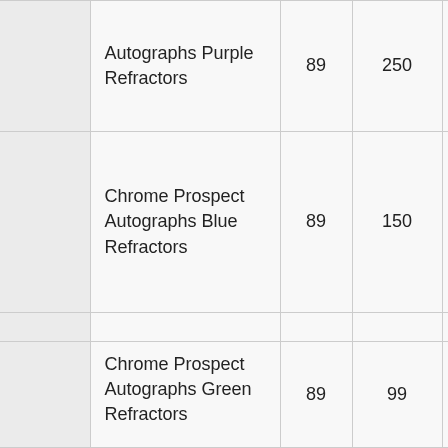| (cut) | Card Name | Number | Print Run | Odds |
| --- | --- | --- | --- | --- |
|  | Autographs Purple Refractors | 89 | 250 | 1:2... |
|  | Chrome Prospect Autographs Blue Refractors | 89 | 150 | 1:4... |
|  | Chrome Prospect Autographs Atomic Refractors | 89 | 100 | 1:6... |
|  | Chrome Prospect Autographs Green Refractors | 89 | 99 | N/A... |